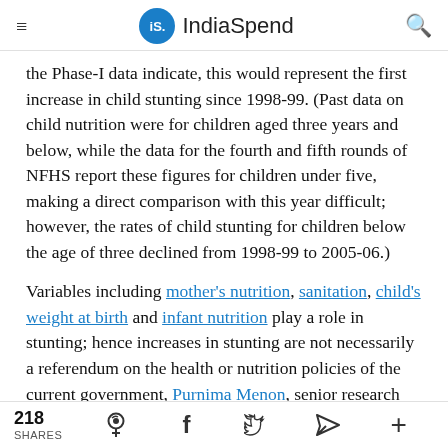IndiaSpend
the Phase-I data indicate, this would represent the first increase in child stunting since 1998-99. (Past data on child nutrition were for children aged three years and below, while the data for the fourth and fifth rounds of NFHS report these figures for children under five, making a direct comparison with this year difficult; however, the rates of child stunting for children below the age of three declined from 1998-99 to 2005-06.)
Variables including mother's nutrition, sanitation, child's weight at birth and infant nutrition play a role in stunting; hence increases in stunting are not necessarily a referendum on the health or nutrition policies of the current government, Purnima Menon, senior research fellow at the International
218 SHARES